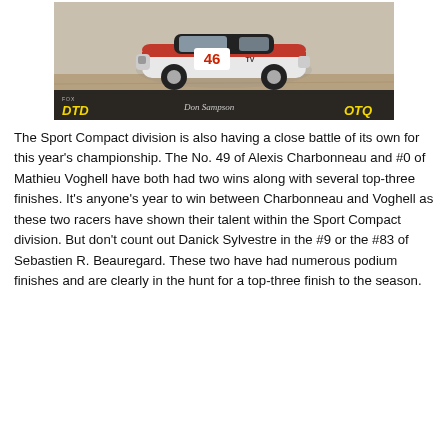[Figure (photo): A racing car (number 46) on a dirt track, with DTD and OTQ logos overlaid at the bottom of the image.]
The Sport Compact division is also having a close battle of its own for this year's championship. The No. 49 of Alexis Charbonneau and #0 of Mathieu Voghell have both had two wins along with several top-three finishes. It's anyone's year to win between Charbonneau and Voghell as these two racers have shown their talent within the Sport Compact division. But don't count out Danick Sylvestre in the #9 or the #83 of Sebastien R. Beauregard. These two have had numerous podium finishes and are clearly in the hunt for a top-three finish to the season.